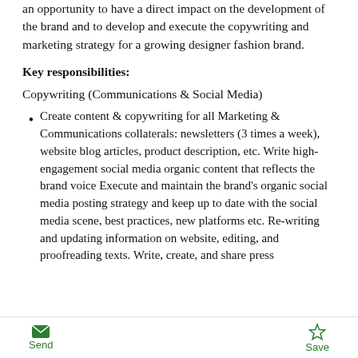a formula that will provide the right candidate with an opportunity to have a direct impact on the development of the brand and to develop and execute the copywriting and marketing strategy for a growing designer fashion brand.
Key responsibilities:
Copywriting (Communications & Social Media)
Create content & copywriting for all Marketing & Communications collaterals: newsletters (3 times a week), website blog articles, product description, etc. Write high-engagement social media organic content that reflects the brand voice Execute and maintain the brand’s organic social media posting strategy and keep up to date with the social media scene, best practices, new platforms etc. Re-writing and updating information on website, editing, and proofreading texts. Write, create, and share press
Send  Save